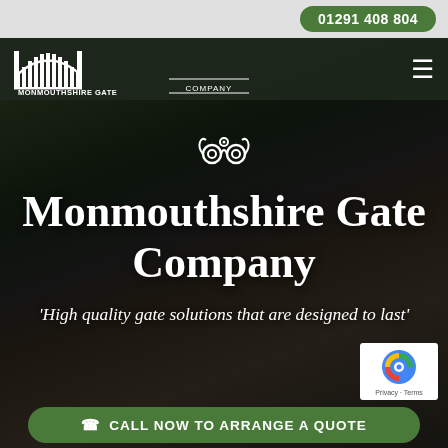01291 408 804
[Figure (logo): Monmouthshire Gate Company logo with arch gate illustration in white on dark background]
Monmouthshire Gate Company
'High quality gate solutions that are designed to last'
[Figure (illustration): Decorative ornamental scroll/flourish icon in white]
CALL NOW TO ARRANGE A QUOTE